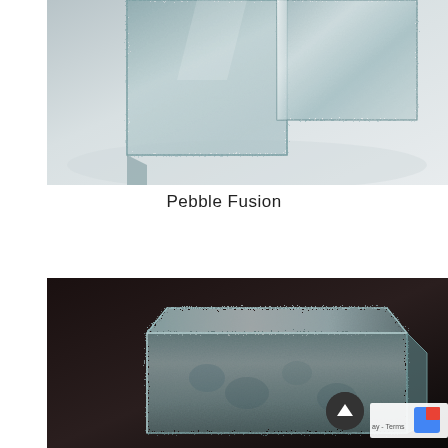[Figure (photo): Close-up photograph of textured frosted/pebbled glass block or panel with rough surface, two panels at an angle, light background, monochrome tones.]
Pebble Fusion
[Figure (photo): Close-up photograph of a rectangular clear glass block with a hammered/pebbled texture on a dark background, viewed at an angle showing the thickness and surface texture.]